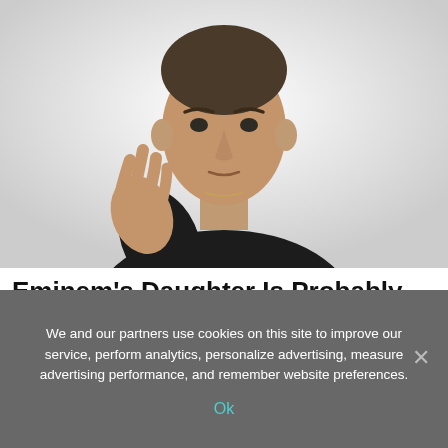[Figure (photo): Photo of Eminem (a male rapper) in a dark jacket, pointing or gesturing with his right hand toward the camera against a white/light background.]
Eminem's Daughter Is Probably The Prettiest Woman To Ever Exist
We and our partners use cookies on this site to improve our service, perform analytics, personalize advertising, measure advertising performance, and remember website preferences.
Ok